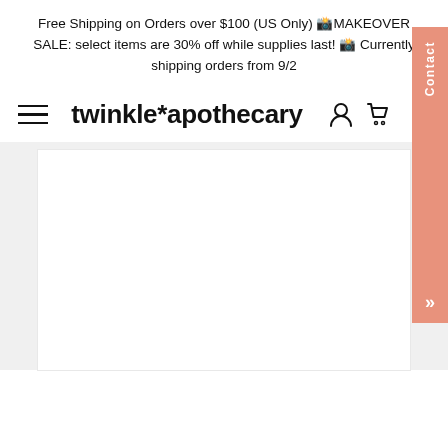Free Shipping on Orders over $100 (US Only) 🎨MAKEOVER SALE: select items are 30% off while supplies last! 🎨 Currently shipping orders from 9/2
twinkle*apothecary
[Figure (screenshot): Website screenshot showing twinkle*apothecary e-commerce page header with hamburger menu, brand logo, user/cart icons, a salmon-colored Contact tab on the right side, and white content area below on a light gray background.]